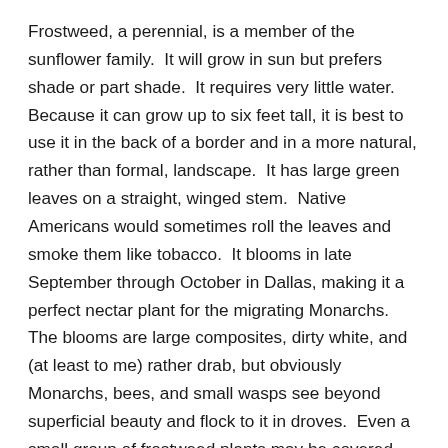Frostweed, a perennial, is a member of the sunflower family.  It will grow in sun but prefers shade or part shade.  It requires very little water.  Because it can grow up to six feet tall, it is best to use it in the back of a border and in a more natural, rather than formal, landscape.  It has large green leaves on a straight, winged stem.  Native Americans would sometimes roll the leaves and smoke them like tobacco.  It blooms in late September through October in Dallas, making it a perfect nectar plant for the migrating Monarchs.  The blooms are large composites, dirty white, and (at least to me) rather drab, but obviously Monarchs, bees, and small wasps see beyond superficial beauty and flock to it in droves.  Even a small group of frostweed plants may be covered with four or five Monarch butterflies on each flower.  It is a sight to behold!!